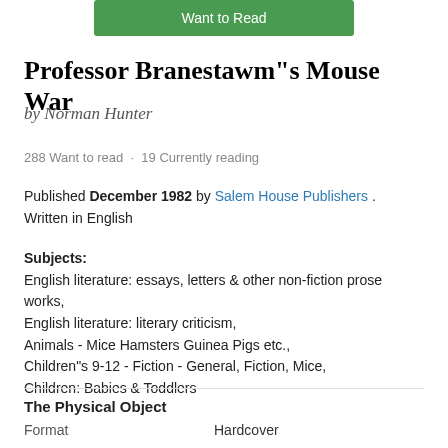[Figure (other): Green 'Want to Read' button at top of page]
Professor Branestawm"s Mouse War
by Norman Hunter
288 Want to read · 19 Currently reading
Published December 1982 by Salem House Publishers . Written in English
Subjects:
English literature: essays, letters & other non-fiction prose works,
English literature: literary criticism,
Animals - Mice Hamsters Guinea Pigs etc.,
Children"s 9-12 - Fiction - General, Fiction, Mice,
Children: Babies & Toddlers
The Physical Object
|  |  |
| --- | --- |
| Format | Hardcover |
| Number of Pages | 48 |
ID Numbers